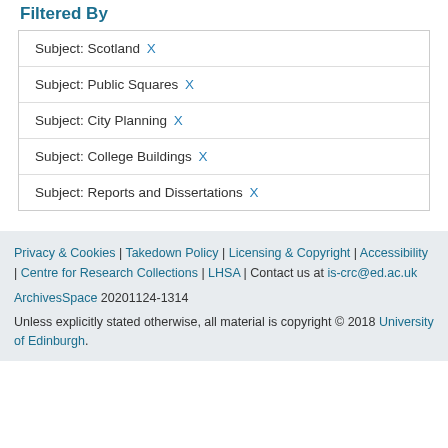Filtered By
Subject: Scotland X
Subject: Public Squares X
Subject: City Planning X
Subject: College Buildings X
Subject: Reports and Dissertations X
Privacy & Cookies | Takedown Policy | Licensing & Copyright | Accessibility | Centre for Research Collections | LHSA | Contact us at is-crc@ed.ac.uk
ArchivesSpace 20201124-1314
Unless explicitly stated otherwise, all material is copyright © 2018 University of Edinburgh.